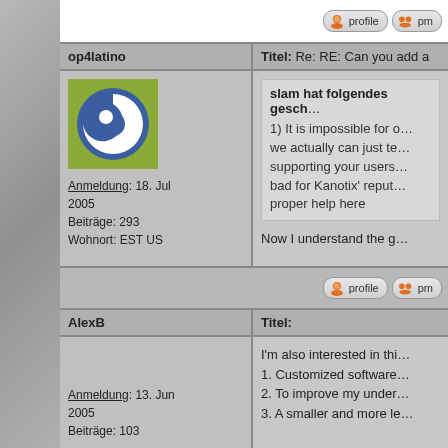[Figure (screenshot): Forum thread screenshot showing user posts with profile info and message content]
profile  pm
op4latino  Titel: Re: RE: Can you add a
[Figure (logo): Avatar image with blue spiral on green background for op4latino]
Anmeldung: 18. Jul 2005
Beiträge: 293
Wohnort: EST US
slam hat folgendes gesch...
1) It is impossible for o... we actually can just te... supporting your users... bad for Kanotix' reput... proper help here
Now I understand the g...
profile  pm
AlexB  Titel:
Anmeldung: 13. Jun 2005
Beiträge: 103
I'm also interested in thi...
1. Customized software...
2. To improve my under...
3. A smaller and more le...